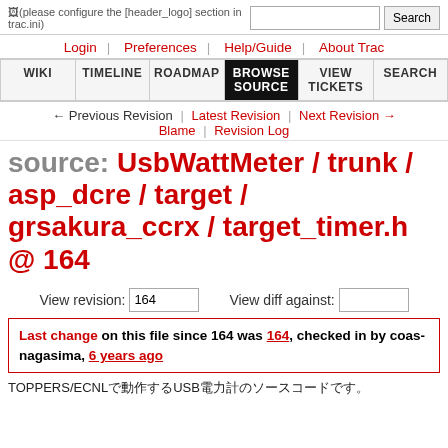(please configure the [header_logo] section in trac.ini)
Login | Preferences | Help/Guide | About Trac
WIKI | TIMELINE | ROADMAP | BROWSE SOURCE | VIEW TICKETS | SEARCH
← Previous Revision | Latest Revision | Next Revision → Blame | Revision Log
source: UsbWattMeter / trunk / asp_dcre / target / grsakura_ccrx / target_timer.h @ 164
View revision: 164   View diff against:
Last change on this file since 164 was 164, checked in by coas-nagasima, 6 years ago
TOPPERS/ECNLで動作するUSB電力計のソースコードです。